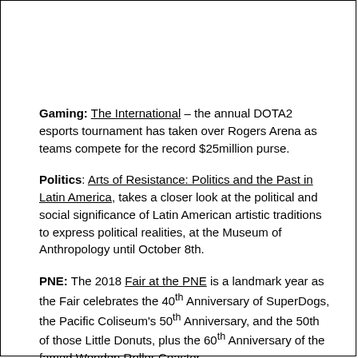Gaming: The International – the annual DOTA2 esports tournament has taken over Rogers Arena as teams compete for the record $25million purse.
Politics: Arts of Resistance: Politics and the Past in Latin America, takes a closer look at the political and social significance of Latin American artistic traditions to express political realities, at the Museum of Anthropology until October 8th.
PNE: The 2018 Fair at the PNE is a landmark year as the Fair celebrates the 40th Anniversary of SuperDogs, the Pacific Coliseum's 50th Anniversary, and the 50th of those Little Donuts, plus the 60th Anniversary of the famed Wooden Roller Coaster.